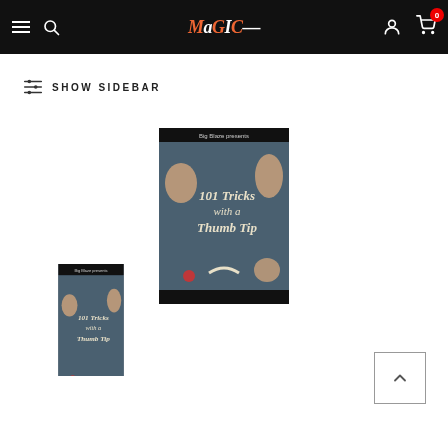Magic Inc. website navigation bar with hamburger menu, search, logo, account, and cart (0 items)
SHOW SIDEBAR
[Figure (photo): Product cover image large: '101 Tricks with a Thumb Tip' DVD/book cover showing hands holding magic props on a blue speckled background, presented by Big Blaze]
[Figure (photo): Product cover image small: same '101 Tricks with a Thumb Tip' cover, partially cropped at bottom of page]